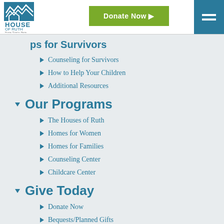House of Ruth – Hope Starts Here | Donate Now | Menu
ps for Survivors
Counseling for Survivors
How to Help Your Children
Additional Resources
Our Programs
The Houses of Ruth
Homes for Women
Homes for Families
Counseling Center
Childcare Center
Give Today
Donate Now
Bequests/Planned Gifts
IRA Gifts
Stocks/Mutual Funds